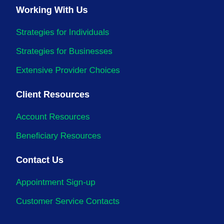Working With Us
Strategies for Individuals
Strategies for Businesses
Extensive Provider Choices
Client Resources
Account Resources
Beneficiary Resources
Contact Us
Appointment Sign-up
Customer Service Contacts